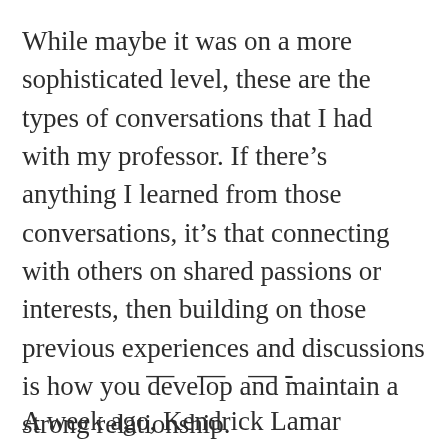While maybe it was on a more sophisticated level, these are the types of conversations that I had with my professor. If there’s anything I learned from those conversations, it’s that connecting with others on shared passions or interests, then building on those previous experiences and discussions is how you develop and maintain a strong relationship.
— — —-
A week ago, Kendrick Lamar released,